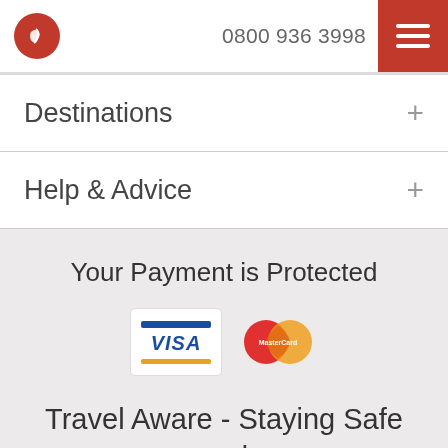0800 936 3998
Destinations +
Help & Advice +
Your Payment is Protected
[Figure (logo): Visa and MasterCard payment logos]
Travel Aware - Staying Safe and Healthy Abroad